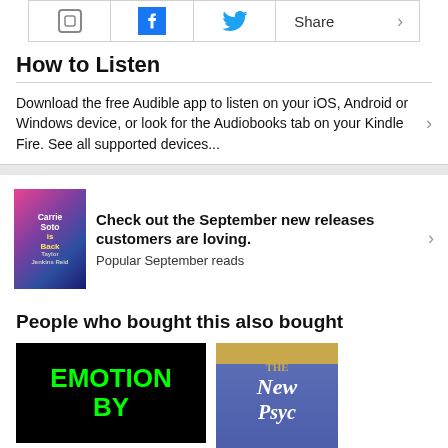[Figure (screenshot): Top bar with social sharing icons: copy link icon, Facebook icon, Twitter bird icon, and Share text with chevron]
How to Listen
Download the free Audible app to listen on your iOS, Android or Windows device, or look for the Audiobooks tab on your Kindle Fire. See all supported devices...
[Figure (illustration): Book cover for Carrie Soto is Back by Taylor Jenkins Reid]
Check out the September new releases customers are loving. Popular September reads
People who bought this also bought
[Figure (illustration): Book cover with black background and green text reading EMOTION BY]
[Figure (illustration): Book cover with gold top band and blue background, text reading THE New Psyc...]